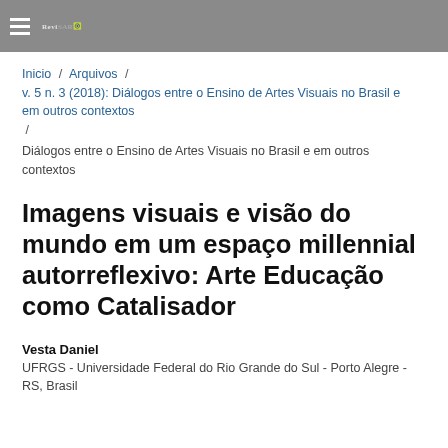RevisARTE
Inicio / Arquivos /
v. 5 n. 3 (2018): Diálogos entre o Ensino de Artes Visuais no Brasil e em outros contextos
/
Diálogos entre o Ensino de Artes Visuais no Brasil e em outros contextos
Imagens visuais e visão do mundo em um espaço millennial autorreflexivo: Arte Educação como Catalisador
Vesta Daniel
UFRGS - Universidade Federal do Rio Grande do Sul - Porto Alegre - RS, Brasil